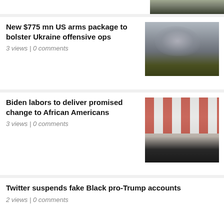[Figure (photo): Partial view of top article image showing trees or landscape]
New $775 mn US arms package to bolster Ukraine offensive ops
3 views | 0 comments
[Figure (photo): Smoke rising from battlefield landscape, Ukraine war scene]
Biden labors to deliver promised change to African Americans
3 views | 0 comments
[Figure (photo): Two men in formal attire, one saluting and one with hand on chest, in front of American flags]
Twitter suspends fake Black pro-Trump accounts
2 views | 0 comments